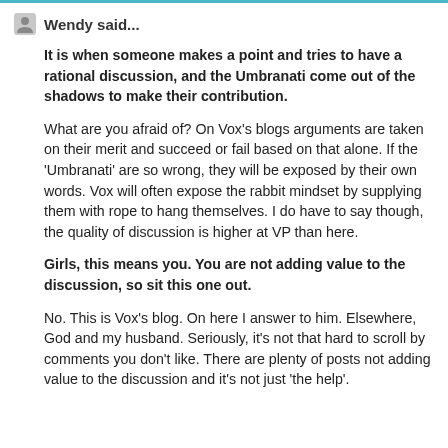Wendy said...
It is when someone makes a point and tries to have a rational discussion, and the Umbranati come out of the shadows to make their contribution.
What are you afraid of? On Vox's blogs arguments are taken on their merit and succeed or fail based on that alone. If the 'Umbranati' are so wrong, they will be exposed by their own words. Vox will often expose the rabbit mindset by supplying them with rope to hang themselves. I do have to say though, the quality of discussion is higher at VP than here.
Girls, this means you. You are not adding value to the discussion, so sit this one out.
No. This is Vox's blog. On here I answer to him. Elsewhere, God and my husband. Seriously, it's not that hard to scroll by comments you don't like. There are plenty of posts not adding value to the discussion and it's not just 'the help'.